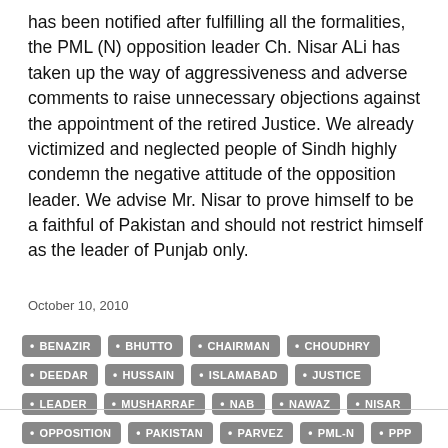has been notified after fulfilling all the formalities, the PML (N) opposition leader Ch. Nisar ALi has taken up the way of aggressiveness and adverse comments to raise unnecessary objections against the appointment of the retired Justice. We already victimized and neglected people of Sindh highly condemn the negative attitude of the opposition leader. We advise Mr. Nisar to prove himself to be a faithful of Pakistan and should not restrict himself as the leader of Punjab only.
October 10, 2010
BENAZIR
BHUTTO
CHAIRMAN
CHOUDHRY
DEEDAR
HUSSAIN
ISLAMABAD
JUSTICE
LEADER
MUSHARRAF
NAB
NAWAZ
NISAR
OPPOSITION
PAKISTAN
PARVEZ
PML-N
PPP
PRESIDENT
SAIF-UR-RAHMAN
SHAH
SHAHEED
SHARIF
TARAR